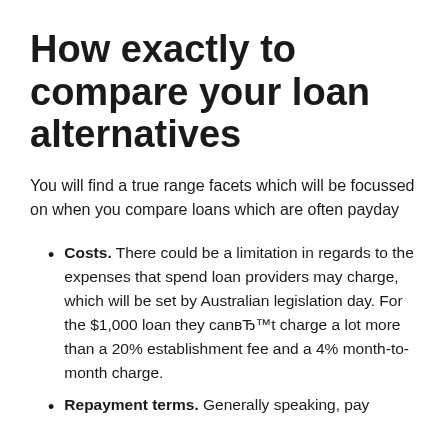How exactly to compare your loan alternatives
You will find a true range facets which will be focussed on when you compare loans which are often payday
Costs. There could be a limitation in regards to the expenses that spend loan providers may charge, which will be set by Australian legislation day. For the $1,000 loan they can’t charge a lot more than a 20% establishment fee and a 4% month-to-month charge.
Repayment terms. Generally speaking, pay